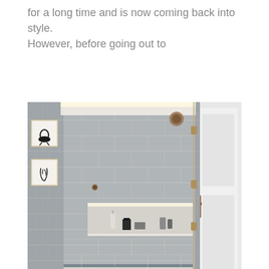for a long time and is now coming back into style. However, before going out to
[Figure (photo): A modern bathroom shower with grey marble-look rectangular tiles covering three walls, a built-in illuminated niche shelf with toiletry items, a frameless glass door with bronze hardware, a rain shower head, white mosaic floor tiles, and two black-and-white framed artworks on the grey wall to the left outside the shower.]